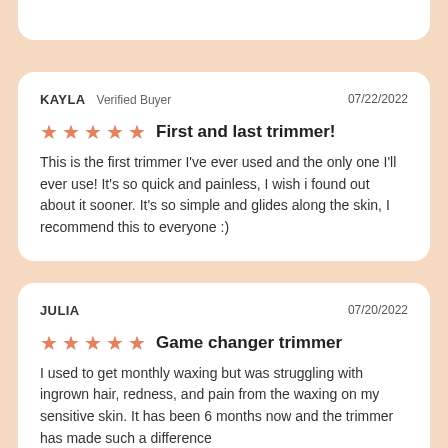KAYLA  Verified Buyer   07/22/2022
First and last trimmer!
This is the first trimmer I've ever used and the only one I'll ever use! It's so quick and painless, I wish i found out about it sooner. It's so simple and glides along the skin, I recommend this to everyone :)
JULIA   07/20/2022
Game changer trimmer
I used to get monthly waxing but was struggling with ingrown hair, redness, and pain from the waxing on my sensitive skin. It has been 6 months now and the trimmer has made such a difference